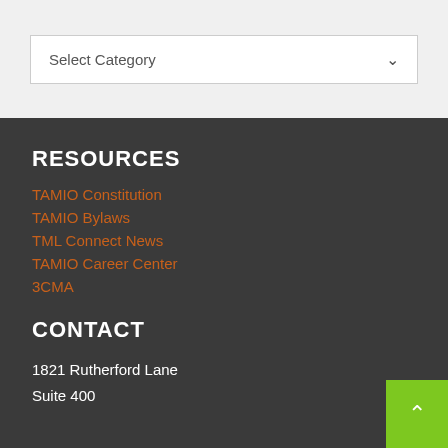Select Category
RESOURCES
TAMIO Constitution
TAMIO Bylaws
TML Connect News
TAMIO Career Center
3CMA
CONTACT
1821 Rutherford Lane
Suite 400